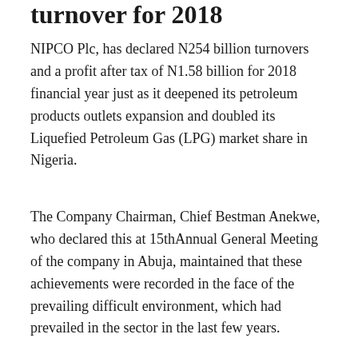turnover for 2018
NIPCO Plc, has declared N254 billion turnovers and a profit after tax of N1.58 billion for 2018 financial year just as it deepened its petroleum products outlets expansion and doubled its Liquefied Petroleum Gas (LPG) market share in Nigeria.
The Company Chairman, Chief Bestman Anekwe, who declared this at 15thAnnual General Meeting of the company in Abuja, maintained that these achievements were recorded in the face of the prevailing difficult environment, which had prevailed in the sector in the last few years.